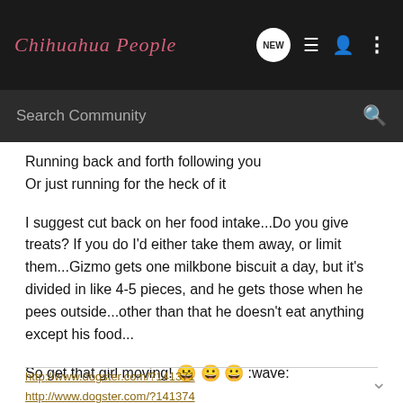Chihuahua People
Running back and forth following you
Or just running for the heck of it
I suggest cut back on her food intake...Do you give treats? If you do I'd either take them away, or limit them...Gizmo gets one milkbone biscuit a day, but it's divided in like 4-5 pieces, and he gets those when he pees outside...other than that he doesn't eat anything except his food...
So get that girl moving! 😀 😀 😀 :wave:
http://www.dogster.com/?141371
http://www.dogster.com/?141374